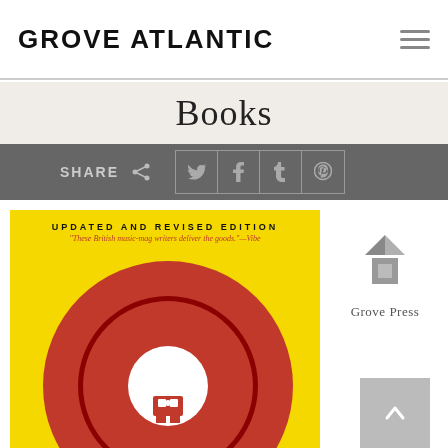GROVE ATLANTIC
Books
SHARE
[Figure (screenshot): Book cover with yellow background showing a red vinyl record, text reading 'UPDATED AND REVISED EDITION' and quote 'These British music-mag writers deliver the goods.' —Vibe]
[Figure (logo): Grove Press logo with geometric diamond/arrow shapes in gray above text 'Grove Press']
[Figure (other): Scroll to top button with upward arrow]